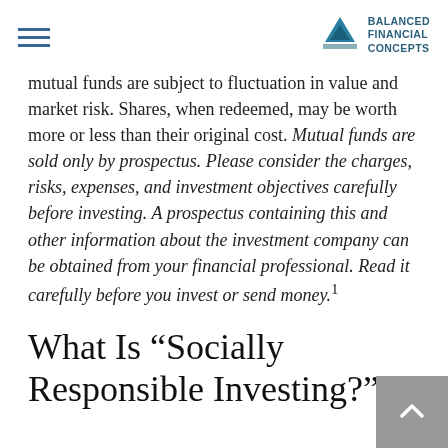Balanced Financial Concepts
mutual funds are subject to fluctuation in value and market risk. Shares, when redeemed, may be worth more or less than their original cost. Mutual funds are sold only by prospectus. Please consider the charges, risks, expenses, and investment objectives carefully before investing. A prospectus containing this and other information about the investment company can be obtained from your financial professional. Read it carefully before you invest or send money.¹
What Is “Socially Responsible Investing?”